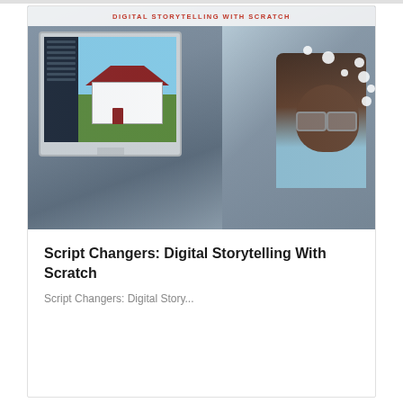[Figure (photo): A child looking at a computer monitor displaying an image of a house. The monitor screen shows a dark sidebar (code editor) on the left and an illustrated house on the right. The photo has a header bar at top reading 'DIGITAL STORYTELLING WITH SCRATCH' in red text on white background. White hair accessories (pom-poms) are visible in the child's hair.]
Script Changers: Digital Storytelling With Scratch
Script Changers: Digital Story...